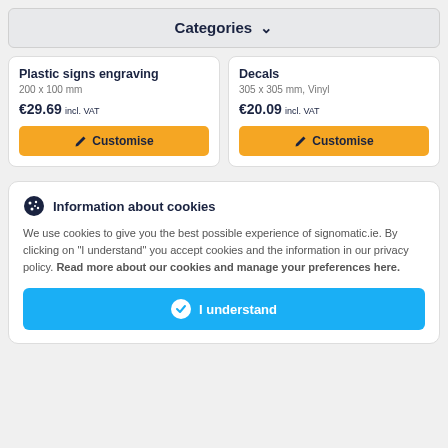Categories ▾
Plastic signs engraving
200 x 100 mm
€29.69 incl. VAT
Customise
Decals
305 x 305 mm, Vinyl
€20.09 incl. VAT
Customise
Information about cookies
We use cookies to give you the best possible experience of signomatic.ie. By clicking on "I understand" you accept cookies and the information in our privacy policy. Read more about our cookies and manage your preferences here.
I understand